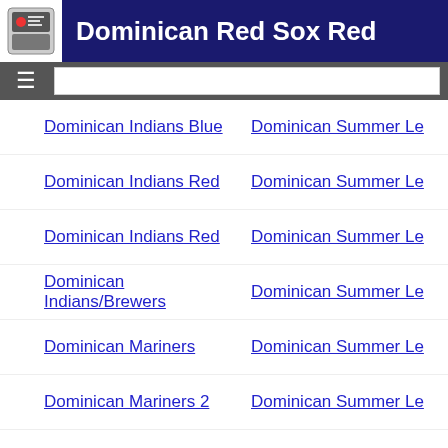Dominican Red Sox Red
Dominican Indians Blue | Dominican Summer Le
Dominican Indians Red | Dominican Summer Le
Dominican Indians Red | Dominican Summer Le
Dominican Indians/Brewers | Dominican Summer Le
Dominican Mariners | Dominican Summer Le
Dominican Mariners 2 | Dominican Summer Le
Dominican Marlins | Dominican Summer Le
Dominican Mets | Dominican Summer Le
Dominican Mets 2 | Dominican Summer Le
Dominican Miami | Dominican Summer Le
Dominican Nationals | Dominican Summer Le
Dominican Orioles | Dominican Summer Le
Dominican Orioles 2 | Dominican Summer Le